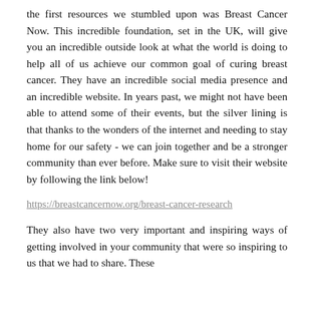the first resources we stumbled upon was Breast Cancer Now. This incredible foundation, set in the UK, will give you an incredible outside look at what the world is doing to help all of us achieve our common goal of curing breast cancer. They have an incredible social media presence and an incredible website. In years past, we might not have been able to attend some of their events, but the silver lining is that thanks to the wonders of the internet and needing to stay home for our safety - we can join together and be a stronger community than ever before. Make sure to visit their website by following the link below!
https://breastcancernow.org/breast-cancer-research
They also have two very important and inspiring ways of getting involved in your community that were so inspiring to us that we had to share. These